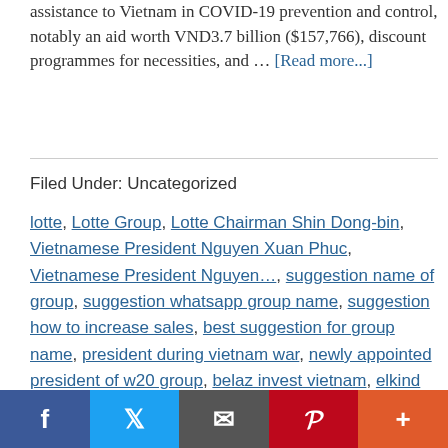assistance to Vietnam in COVID-19 prevention and control, notably an aid worth VND3.7 billion ($157,766), discount programmes for necessities, and … [Read more...]
Filed Under: Uncategorized
lotte, Lotte Group, Lotte Chairman Shin Dong-bin, Vietnamese President Nguyen Xuan Phuc, Vietnamese President Nguyen…, suggestion name of group, suggestion whatsapp group name, suggestion how to increase sales, best suggestion for group name, president during vietnam war, newly appointed president of w20 group, belaz invest vietnam, elkind suggested that adolescent egocentrism is due to
[Figure (other): Social media sharing bar with Facebook, Twitter, email, Pinterest, and more buttons]